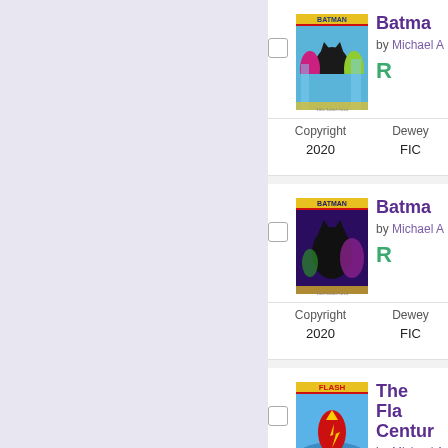[Figure (screenshot): Left navigation/sidebar panel with light purple/lavender background]
[Figure (illustration): Batman comic book cover 1 - colorful with Batman and Joker characters]
Batman (truncated title)
by Michael A
R (reading level indicator)
| Copyright | Dewey |
| --- | --- |
| 2020 | FIC |
[Figure (illustration): Batman comic book cover 2 - dark purple tones with Batman]
Batman (truncated title)
by Michael A
R (reading level indicator)
| Copyright | Dewey |
| --- | --- |
| 2020 | FIC |
[Figure (illustration): The Flash comic book cover - blue tones with Flash character]
The Fla... Centur... (truncated title)
by Michael A
R (reading level indicator)